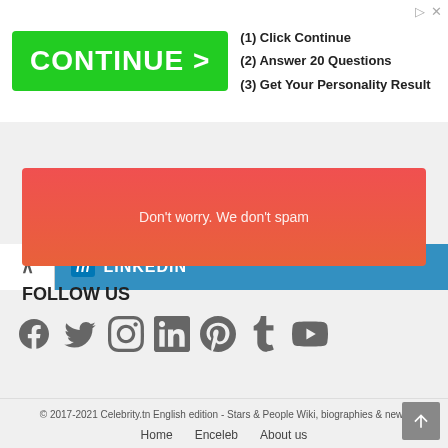[Figure (screenshot): Advertisement banner with green CONTINUE > button and text: (1) Click Continue, (2) Answer 20 Questions, (3) Get Your Personality Result]
[Figure (screenshot): LinkedIn social share bar with chevron up icon and LINKEDIN text]
Don't worry. We don't spam
FOLLOW US
[Figure (infographic): Social media icons: Facebook, Twitter, Instagram, LinkedIn, Pinterest, Tumblr, YouTube]
© 2017-2021 Celebrity.tn English edition - Stars & People Wiki, biographies & news
Home   Enceleb   About us